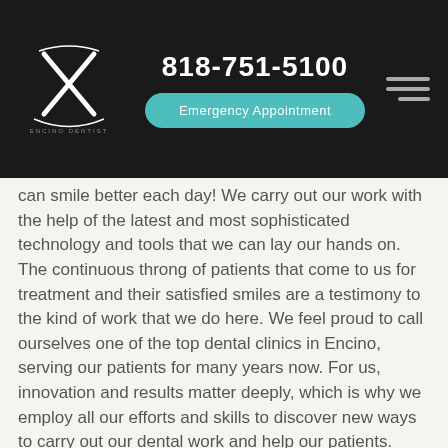818-751-5100 | Emergency Appointment
[Figure (logo): Dental clinic logo with stylized X shape in white on dark background]
can smile better each day! We carry out our work with the help of the latest and most sophisticated technology and tools that we can lay our hands on. The continuous throng of patients that come to us for treatment and their satisfied smiles are a testimony to the kind of work that we do here. We feel proud to call ourselves one of the top dental clinics in Encino, serving our patients for many years now. For us, innovation and results matter deeply, which is why we employ all our efforts and skills to discover new ways to carry out our dental work and help our patients.
Why choose us?
This is a question that is perhaps best answered on its